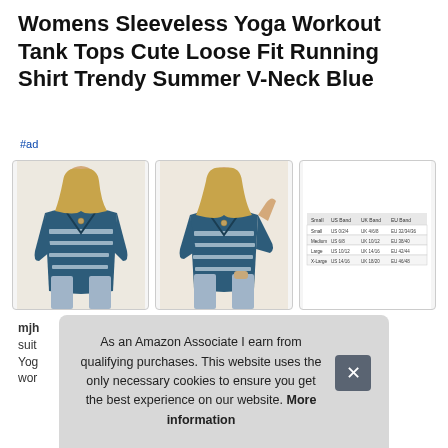Womens Sleeveless Yoga Workout Tank Tops Cute Loose Fit Running Shirt Trendy Summer V-Neck Blue
#ad
[Figure (photo): Three product images: front view of woman wearing blue striped v-neck tank top, back/side view of same top, and size chart table]
mjh... suit... Yoga... wor...
As an Amazon Associate I earn from qualifying purchases. This website uses the only necessary cookies to ensure you get the best experience on our website. More information